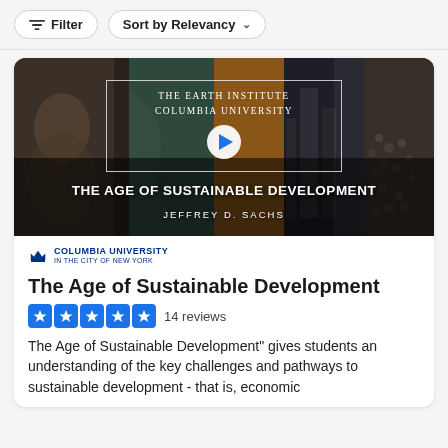Filter  Sort by Relevancy
[Figure (screenshot): Course thumbnail for 'The Age of Sustainable Development' by Jeffrey D. Sachs, The Earth Institute Columbia University. Dark composite background with play button overlay.]
COLUMBIA UNIVERSITY IN THE CITY OF NEW YORK
The Age of Sustainable Development
★★★★★ 14 reviews
The Age of Sustainable Development" gives students an understanding of the key challenges and pathways to sustainable development - that is, economic